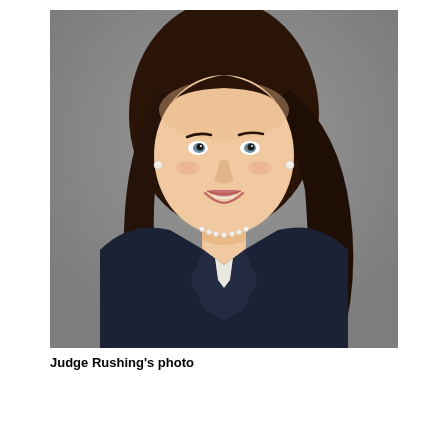[Figure (photo): Professional headshot of Judge Rushing, a woman with long dark brown hair, wearing a dark navy pinstripe blazer over a white top, pearl earrings and a pearl necklace, smiling, against a gray studio background.]
Judge Rushing's photo